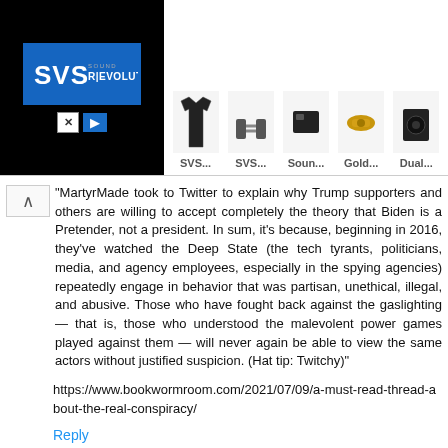[Figure (screenshot): SVS Sound Revolution advertisement banner showing logo on black background and product images]
"MartyrMade took to Twitter to explain why Trump supporters and others are willing to accept completely the theory that Biden is a Pretender, not a president. In sum, it's because, beginning in 2016, they've watched the Deep State (the tech tyrants, politicians, media, and agency employees, especially in the spying agencies) repeatedly engage in behavior that was partisan, unethical, illegal, and abusive. Those who have fought back against the gaslighting — that is, those who understood the malevolent power games played against them — will never again be able to view the same actors without justified suspicion. (Hat tip: Twitchy)"
https://www.bookwormroom.com/2021/07/09/a-must-read-thread-about-the-real-conspiracy/
Reply